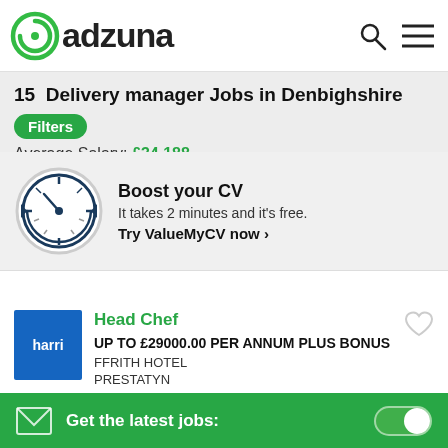[Figure (logo): Adzuna logo with green circular icon and 'adzuna' text, plus search and menu icons on the right]
15 Delivery manager Jobs in Denbighshire
Average Salary: £34,188
[Figure (illustration): Clock/speedometer icon for Boost your CV section]
Boost your CV
It takes 2 minutes and it's free.
Try ValueMyCV now ❯
Head Chef
UP TO £29000.00 PER ANNUM PLUS BONUS
FFRITH HOTEL
PRESTATYN
CLOSING SOON
Get the latest jobs: